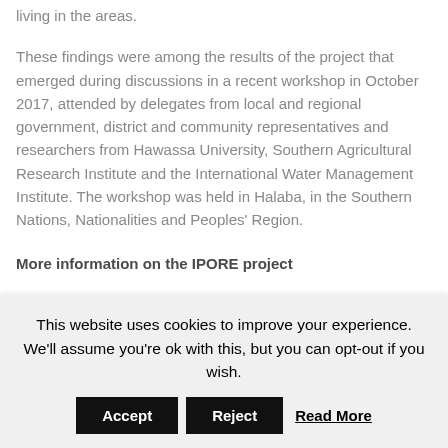living in the areas.
These findings were among the results of the project that emerged during discussions in a recent workshop in October 2017, attended by delegates from local and regional government, district and community representatives and researchers from Hawassa University, Southern Agricultural Research Institute and the International Water Management Institute. The workshop was held in Halaba, in the Southern Nations, Nationalities and Peoples' Region.
More information on the IPORE project
This website uses cookies to improve your experience. We'll assume you're ok with this, but you can opt-out if you wish.